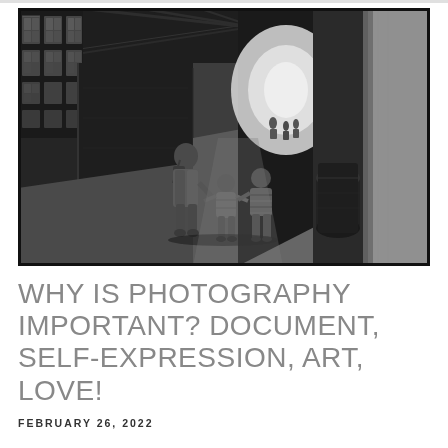[Figure (photo): Black and white photograph of a parent and two children walking hand in hand through a large industrial or train station hall with high windows on the left, bright light at the far end, and a stone column on the right.]
WHY IS PHOTOGRAPHY IMPORTANT? DOCUMENT, SELF-EXPRESSION, ART, LOVE!
FEBRUARY 26, 2022